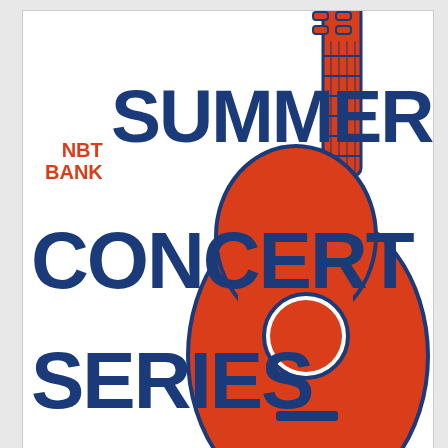[Figure (illustration): NBT Bank Summer Concert Series promotional poster. Features large blue bold text reading 'SUMMER', 'CONCERT', 'SERIES' with 'NBT BANK' in red. An orange acoustic guitar illustration occupies the right side. Text overlay on guitar reads 'EAST PARK NORWICH, NY 2022'. Below the main text: 'SHOWS ARE FREE & BEGIN AT 7' in orange bold text. White background.]
Online Home Store for Furniture
Shop Wayfair for A Zillion Things Home across all styles
www.wayfair.com